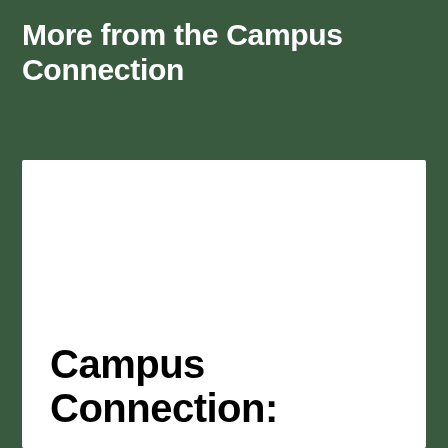More from the Campus Connection
Campus Connection: